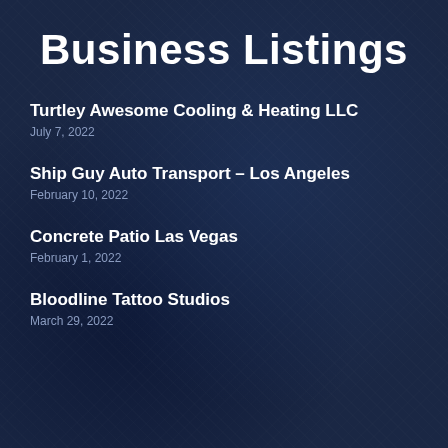Business Listings
Turtley Awesome Cooling & Heating LLC
July 7, 2022
Ship Guy Auto Transport – Los Angeles
February 10, 2022
Concrete Patio Las Vegas
February 1, 2022
Bloodline Tattoo Studios
March 29, 2022